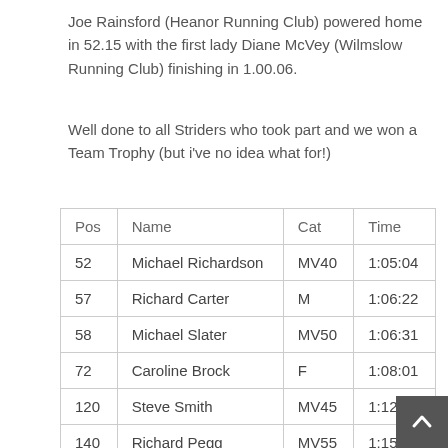Joe Rainsford (Heanor Running Club) powered home in 52.15 with the first lady Diane McVey (Wilmslow Running Club) finishing in 1.00.06.
Well done to all Striders who took part and we won a Team Trophy (but i've no idea what for!)
| Pos | Name | Cat | Time |
| --- | --- | --- | --- |
| 52 | Michael Richardson | MV40 | 1:05:04 |
| 57 | Richard Carter | M | 1:06:22 |
| 58 | Michael Slater | MV50 | 1:06:31 |
| 72 | Caroline Brock | F | 1:08:01 |
| 120 | Steve Smith | MV45 | 1:12:39 |
| 140 | Richard Pegg | MV55 | 1:15:01 |